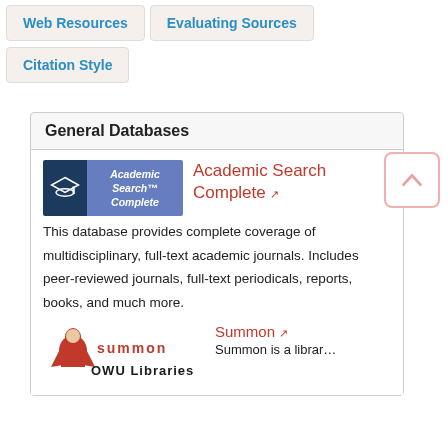Web Resources
Evaluating Sources
Citation Style
General Databases
[Figure (logo): Academic Search Complete logo — dark navy left panel with mortarboard hat icon, purple right panel with italic text 'Academic Search™ Complete']
Academic Search Complete ↗
This database provides complete coverage of multidisciplinary, full-text academic journals. Includes peer-reviewed journals, full-text periodicals, reports, books, and much more.
[Figure (logo): Summon OWU Libraries logo — red mascot figure with 'summon' text and 'OWU Libraries' below]
Summon ↗
Summon is a librar…